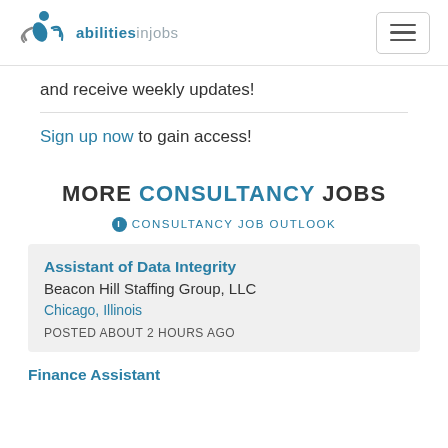abilitiesinjobs
and receive weekly updates!
Sign up now to gain access!
MORE CONSULTANCY JOBS
CONSULTANCY JOB OUTLOOK
Assistant of Data Integrity
Beacon Hill Staffing Group, LLC
Chicago, Illinois
POSTED ABOUT 2 HOURS AGO
Finance Assistant